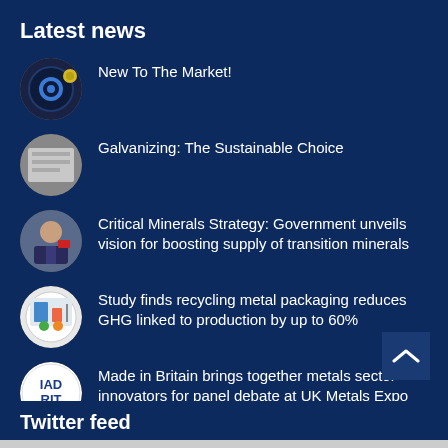Latest news
New To The Market!
Galvanizing: The Sustainable Choice
Critical Minerals Strategy: Government unveils vision for boosting supply of transition minerals
Study finds recycling metal packaging reduces GHG linked to production by up to 60%
Made in Britain brings together metals sector innovators for panel debate at UK Metals Expo on 14th September at Birmingham NEC
Twitter feed